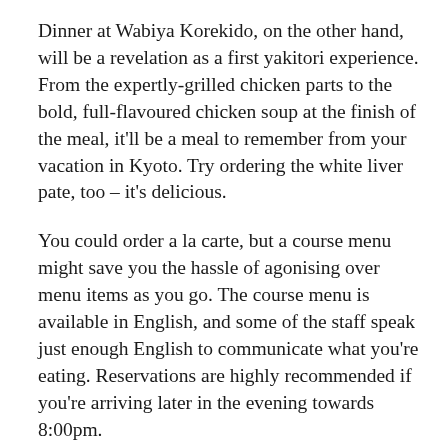Dinner at Wabiya Korekido, on the other hand, will be a revelation as a first yakitori experience. From the expertly-grilled chicken parts to the bold, full-flavoured chicken soup at the finish of the meal, it'll be a meal to remember from your vacation in Kyoto. Try ordering the white liver pate, too – it's delicious.
You could order a la carte, but a course menu might save you the hassle of agonising over menu items as you go. The course menu is available in English, and some of the staff speak just enough English to communicate what you're eating. Reservations are highly recommended if you're arriving later in the evening towards 8:00pm.
For more Kyoto yakitori choices, see our Best Yakitori in Kyoto page.